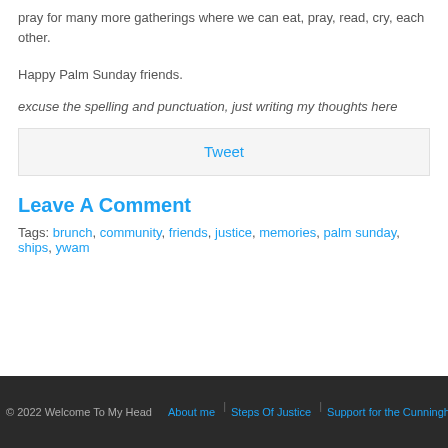pray for many more gatherings where we can eat, pray, read, cry, each other.
Happy Palm Sunday friends.
excuse the spelling and punctuation, just writing my thoughts here
Tweet
Leave A Comment
Tags: brunch, community, friends, justice, memories, palm sunday, ships, ywam
© 2022 Welcome To My Head  |  About me  |  Steps Of Justice  |  Support for the Cunninghams